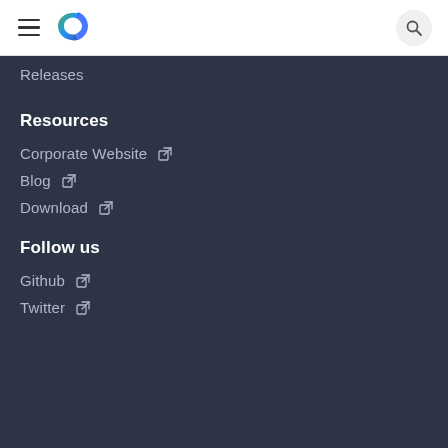Navigation bar with hamburger menu, Chainlink logo, and search button
Releases
Resources
Corporate Website ↗
Blog ↗
Download ↗
Follow us
Github ↗
Twitter ↗